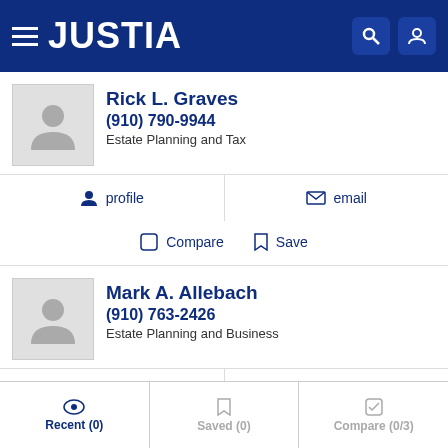JUSTIA
Rick L. Graves
(910) 790-9944
Estate Planning and Tax
profile   email
Compare   Save
Mark A. Allebach
(910) 763-2426
Estate Planning and Business
profile   email
Compare   Save
Recent (0)   Saved (0)   Compare (0/3)